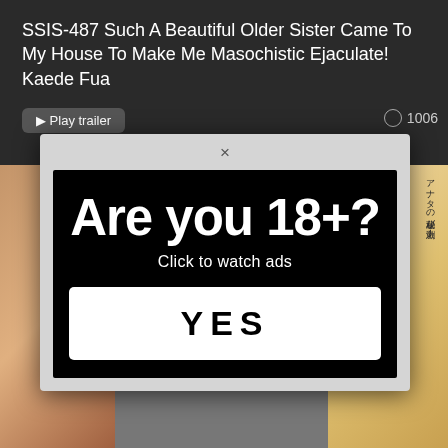SSIS-487 Such A Beautiful Older Sister Came To My House To Make Me Masochistic Ejaculate! Kaede Fua
Play trailer
1006
×
Are you 18+?
Click to watch ads
YES